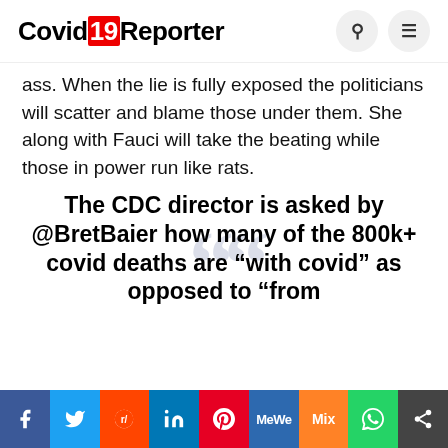Covid19Reporter
ass. When the lie is fully exposed the politicians will scatter and blame those under them. She along with Fauci will take the beating while those in power run like rats.
The CDC director is asked by @BretBaier how many of the 800k+ covid deaths are “with covid” as opposed to “from
Social share bar: Facebook, Twitter, Reddit, LinkedIn, Pinterest, MeWe, Mix, WhatsApp, Share